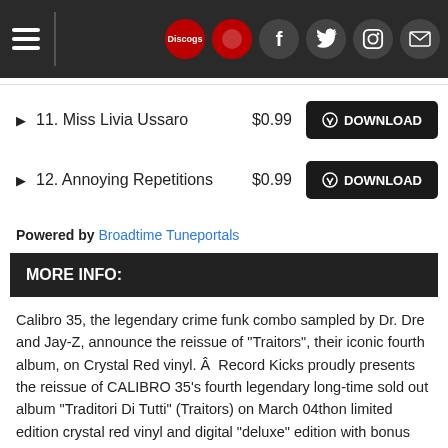Navigation bar with hamburger menu, Discogs logo, Record Kicks logo, Facebook, Twitter, Instagram, Mail icons
11. Miss Livia Ussaro $0.99 DOWNLOAD
12. Annoying Repetitions $0.99 DOWNLOAD
Powered by Broadtime Tuneportals
MORE INFO:
Calibro 35, the legendary crime funk combo sampled by Dr. Dre and Jay-Z, announce the reissue of "Traitors", their iconic fourth album, on Crystal Red vinyl. Â  Record Kicks proudly presents the reissue of CALIBRO 35's fourth legendary long-time sold out album "Traditori Di Tutti" (Traitors) on March 04thon limited edition crystal red vinyl and digital "deluxe" edition with bonus tracks. The publication is part of "The Record Kicks Trilogy" that follows the reissue of the first three albums of the band, released in 2020. This time, Milan label Record Kicks will repress on wax of three different colors and on digital deluxe edition, the fourth, fifth and sixth legendary studio albums of the